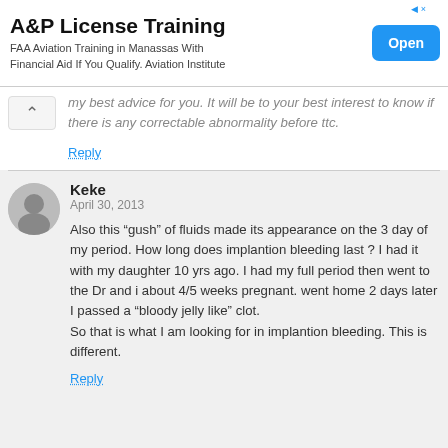[Figure (other): Advertisement banner: A&P License Training. FAA Aviation Training in Manassas With Financial Aid If You Qualify. Aviation Institute. Open button.]
my best advice for you. It will be to your best interest to know if there is any correctable abnormality before ttc.
Reply
Keke
April 30, 2013
Also this “gush” of fluids made its appearance on the 3 day of my period. How long does implantion bleeding last ? I had it with my daughter 10 yrs ago. I had my full period then went to the Dr and i about 4/5 weeks pregnant. went home 2 days later I passed a “bloody jelly like” clot.
So that is what I am looking for in implantion bleeding. This is different.
Reply